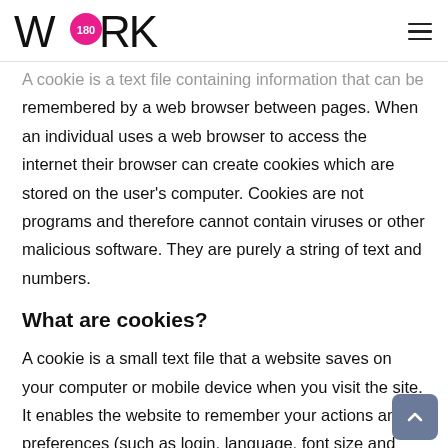WORK180 [logo]
A cookie is a text file containing information that can be remembered by a web browser between pages. When an individual uses a web browser to access the internet their browser can create cookies which are stored on the user's computer. Cookies are not programs and therefore cannot contain viruses or other malicious software. They are purely a string of text and numbers.
What are cookies?
A cookie is a small text file that a website saves on your computer or mobile device when you visit the site. It enables the website to remember your actions and preferences (such as login, language, font size and other display preferences) over a period of time, so you don't